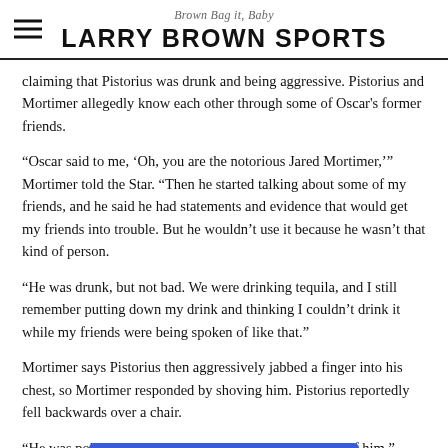Brown Bag it, Baby
LARRY BROWN SPORTS
claiming that Pistorius was drunk and being aggressive. Pistorius and Mortimer allegedly know each other through some of Oscar's former friends.
“Oscar said to me, ‘Oh, you are the notorious Jared Mortimer,’” Mortimer told the Star. “Then he started talking about some of my friends, and he said he had statements and evidence that would get my friends into trouble. But he wouldn’t use it because he wasn’t that kind of person.
“He was drunk, but not bad. We were drinking tequila, and I still remember putting down my drink and thinking I couldn’t drink it while my friends were being spoken of like that.”
Mortimer says Pistorius then aggressively jabbed a finger into his chest, so Mortimer responded by shoving him. Pistorius reportedly fell backwards over a chair.
“He was poking me a… t the better of him,” Mortimer explained. “… that point I pushed